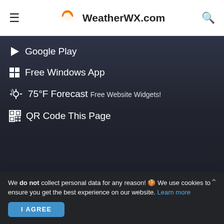WeatherWX.com
Google Play
Free Windows App
75°F Forecast  Free Website Widgets!
QR Code This Page
© COPYRIGHT   🔒 PRIVACY   ➤ TERMS OF USE   ✉ CONTACT
We do not collect personal data for any reason! 🍪 We use cookies to ensure you get the best experience on our website. Learn more
I AGREE